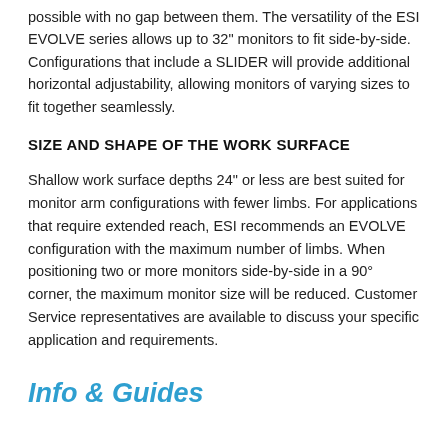possible with no gap between them. The versatility of the ESI EVOLVE series allows up to 32" monitors to fit side-by-side. Configurations that include a SLIDER will provide additional horizontal adjustability, allowing monitors of varying sizes to fit together seamlessly.
SIZE AND SHAPE OF THE WORK SURFACE
Shallow work surface depths 24" or less are best suited for monitor arm configurations with fewer limbs. For applications that require extended reach, ESI recommends an EVOLVE configuration with the maximum number of limbs. When positioning two or more monitors side-by-side in a 90° corner, the maximum monitor size will be reduced. Customer Service representatives are available to discuss your specific application and requirements.
Info & Guides